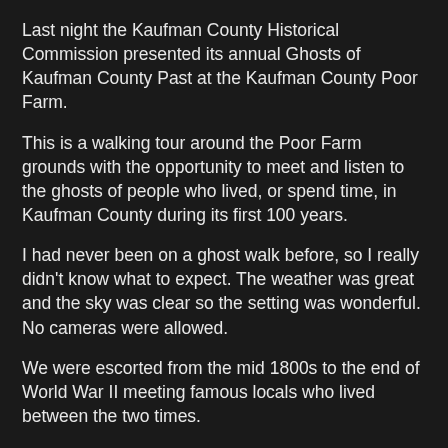Last night the Kaufman County Historical Commission presented its annual Ghosts of Kaufman County Past at the Kaufman County Poor Farm.
This is a walking tour around the Poor Farm grounds with the opportunity to meet and listen to the ghosts of people who lived, or spend time, in Kaufman County during its first 100 years.
I had never been on a ghost walk before, so I really didn't know what to expect. The weather was great and the sky was clear so the setting was wonderful. No cameras were allowed.
We were escorted from the mid 1800s to the end of World War II meeting famous locals who lived between the two times.
The tour started with Warren Ferris remembering life at Kings Fort in the 1800s, Kings Fort is where the town of Kaufman sits now.